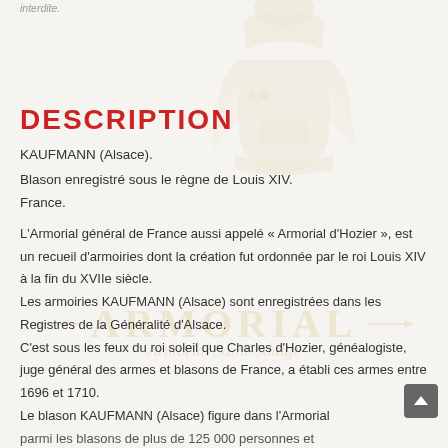interdite.
[Figure (illustration): Decorative heraldic crest/coat of arms watermark, golden color, semi-transparent, positioned top center]
DESCRIPTION
KAUFMANN (Alsace).
Blason enregistré sous le règne de Louis XIV. France.
[Figure (other): ARMORIAL watermark text with decorative lines and cursive subtitle, golden color, semi-transparent]
L'Armorial général de France aussi appelé « Armorial d'Hozier », est un recueil d'armoiries dont la création fut ordonnée par le roi Louis XIV à la fin du XVIIe siècle. Les armoiries KAUFMANN (Alsace) sont enregistrées dans les Registres de la Généralité d'Alsace. C'est sous les feux du roi soleil que Charles d'Hozier, généalogiste, juge général des armes et blasons de France, a établi ces armes entre 1696 et 1710. Le blason KAUFMANN (Alsace) figure dans l'Armorial parmi les blasons de plus de 125 000 personnes et